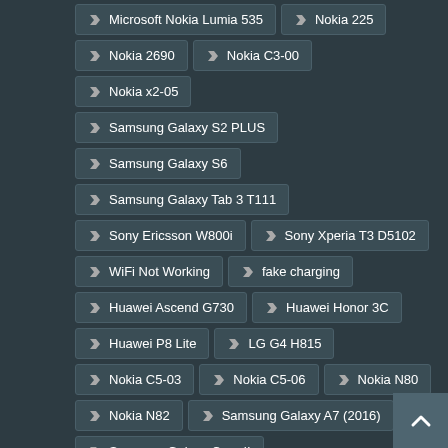Microsoft Nokia Lumia 535
Nokia 225
Nokia 2690
Nokia C3-00
Nokia x2-05
Samsung Galaxy S2 PLUS
Samsung Galaxy S6
Samsung Galaxy Tab 3 T111
Sony Ericsson W800i
Sony Xperia T3 D5102
WiFi Not Working
fake charging
Huawei Ascend G730
Huawei Honor 3C
Huawei P8 Lite
LG G4 H815
Nokia C5-03
Nokia C5-06
Nokia N80
Nokia N82
Samsung Galaxy A7 (2016)
Samsung Galaxy Core II
Samsung Galaxy Grand 2
Samsung Galaxy Grand Neo